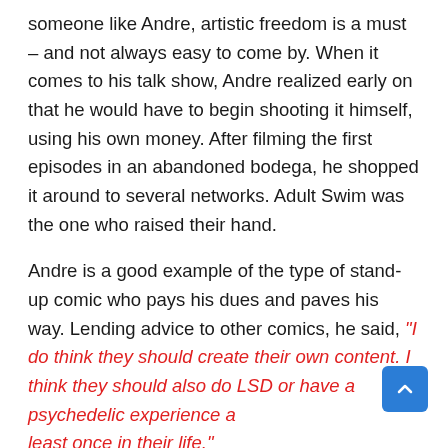someone like Andre, artistic freedom is a must – and not always easy to come by. When it comes to his talk show, Andre realized early on that he would have to begin shooting it himself, using his own money. After filming the first episodes in an abandoned bodega, he shopped it around to several networks. Adult Swim was the one who raised their hand.
Andre is a good example of the type of stand-up comic who pays his dues and paves his way. Lending advice to other comics, he said, "I do think they should create their own content. I think they should also do LSD or have a psychedelic experience at least once in their life."